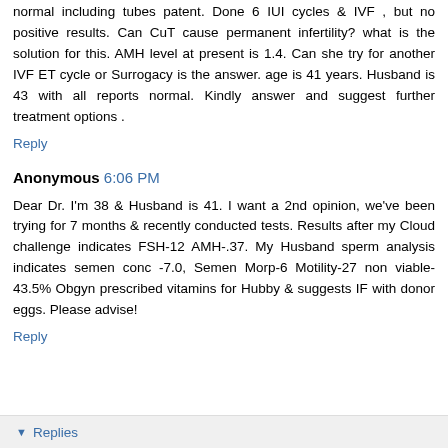normal including tubes patent. Done 6 IUI cycles & IVF , but no positive results. Can CuT cause permanent infertility? what is the solution for this. AMH level at present is 1.4. Can she try for another IVF ET cycle or Surrogacy is the answer. age is 41 years. Husband is 43 with all reports normal. Kindly answer and suggest further treatment options .
Reply
Anonymous 6:06 PM
Dear Dr. I'm 38 & Husband is 41. I want a 2nd opinion, we've been trying for 7 months & recently conducted tests. Results after my Cloud challenge indicates FSH-12 AMH-.37. My Husband sperm analysis indicates semen conc -7.0, Semen Morp-6 Motility-27 non viable- 43.5% Obgyn prescribed vitamins for Hubby & suggests IF with donor eggs. Please advise!
Reply
Replies